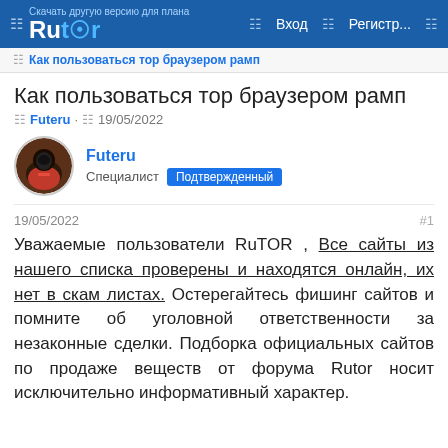Rutor — Вход — Регистр...
Как пользоваться тор браузером рамп
Как пользоваться тор браузером рамп
Futeru · 19/05/2022
Futeru — Специалист — Подтвержденный
19/05/2022  #1
Уважаемые пользователи RuTOR , Все сайты из нашего списка проверены и находятся онлайн, их нет в скам листах. Остерегайтесь фишинг сайтов и помните об уголовной ответственности за незаконные сделки. Подборка официальных сайтов по продаже веществ от форума Rutor носит исключительно информативный характер.